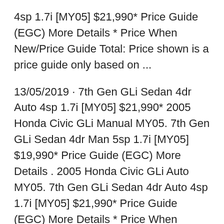4sp 1.7i [MY05] $21,990* Price Guide (EGC) More Details * Price When New/Price Guide Total: Price shown is a price guide only based on ...
13/05/2019 · 7th Gen GLi Sedan 4dr Auto 4sp 1.7i [MY05] $21,990* 2005 Honda Civic GLi Manual MY05. 7th Gen GLi Sedan 4dr Man 5sp 1.7i [MY05] $19,990* Price Guide (EGC) More Details . 2005 Honda Civic GLi Auto MY05. 7th Gen GLi Sedan 4dr Auto 4sp 1.7i [MY05] $21,990* Price Guide (EGC) More Details * Price When New/Price Guide Total: Price shown is a price guide only based on ... 13/05/2019 · 7th Gen GLi Sedan 4dr Auto 4sp 1.7i [MY05] $21,990* 2005 Honda Civic GLi Manual